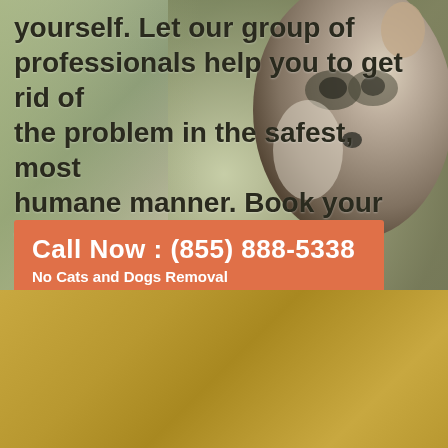yourself. Let our group of professionals help you to get rid of the problem in the safest, most humane manner. Book your wildlife control services in Peoria, Arizona now, contact us!
Call Now : (855) 888-5338
No Cats and Dogs Removal
[Figure (photo): Close-up photo of a raccoon face against a blurred background]
Wildlife Control
Whether it is rodent, bird or a bigger